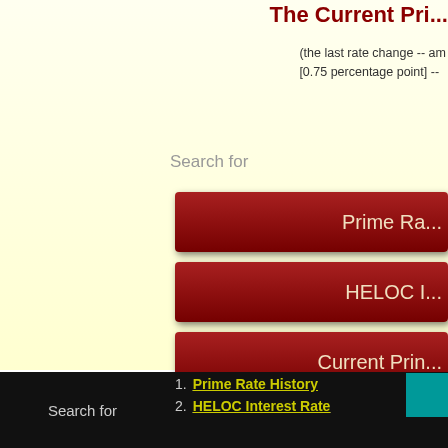The Current Pri...
(the last rate change -- am [0.75 percentage point] --
Search for
[Figure (screenshot): Dark red navigation button labeled 'Prime Ra...']
[Figure (screenshot): Dark red navigation button labeled 'HELOC I...']
[Figure (screenshot): Dark red navigation button labeled 'Current Prin...']
[Figure (screenshot): Dark red navigation button labeled 'Highest CD Rat...']
[Figure (screenshot): Dark red navigation button labeled '30 Year Mo...']
Search for
1. Prime Rate History
2. HELOC Interest Rate